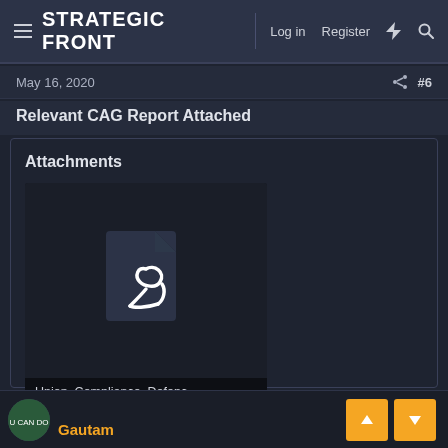STRATEGIC FRONT
May 16, 2020
#6
Relevant CAG Report Attached
Attachments
[Figure (other): PDF file attachment thumbnail showing a PDF icon for a file named Union_Compliance_Defenc...]
Union_Compliance_Defenc...
Gautam